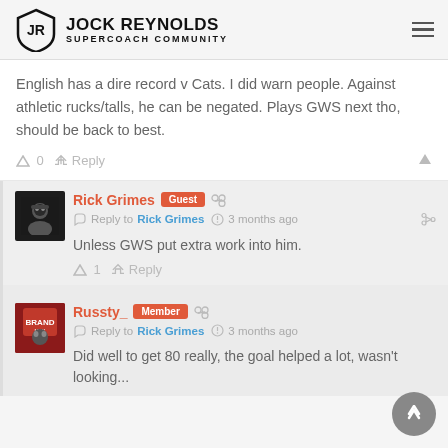JOCK REYNOLDS SUPERCOACH COMMUNITY
English has a dire record v Cats. I did warn people. Against athletic rucks/talls, he can be negated. Plays GWS next tho, should be back to best.
0  Reply
Rick Grimes Guest — Reply to Rick Grimes — 3 months ago
Unless GWS put extra work into him.
1  Reply
Russty_ Member — Reply to Rick Grimes — 3 months ago
Did well to get 80 really, the goal helped a lot, wasn't looking...